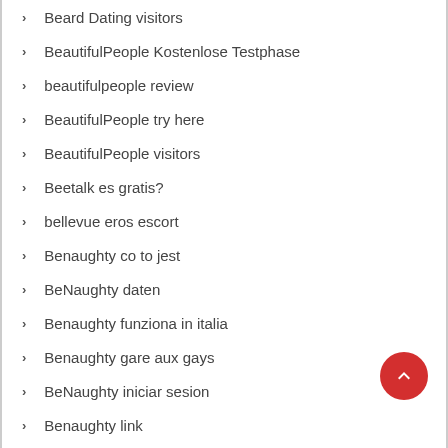Beard Dating visitors
BeautifulPeople Kostenlose Testphase
beautifulpeople review
BeautifulPeople try here
BeautifulPeople visitors
Beetalk es gratis?
bellevue eros escort
Benaughty co to jest
BeNaughty daten
Benaughty funziona in italia
Benaughty gare aux gays
BeNaughty iniciar sesion
Benaughty link
benaughty-inceleme online-dating
berkeley eros escort